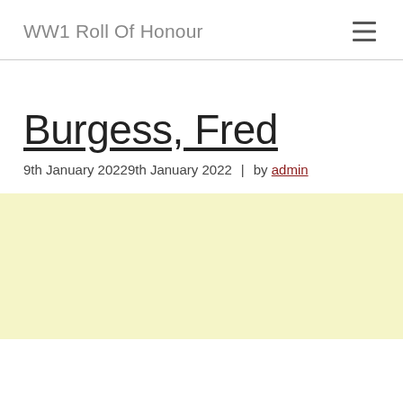WW1 Roll Of Honour
Burgess, Fred
9th January 20229th January 2022 | by admin